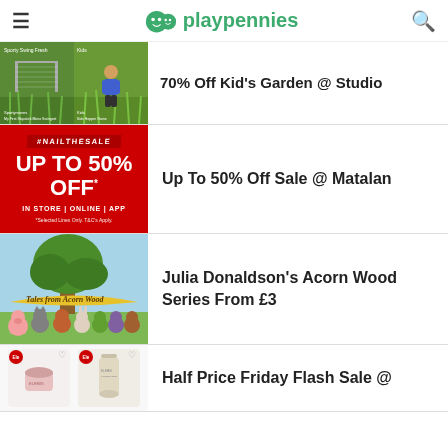playpennies
70% Off Kid's Garden @ Studio
[Figure (photo): Two garden product images on green grass background]
Up To 50% Off Sale @ Matalan
[Figure (photo): Matalan red sale banner: #NAILTHESALE UP TO 50% OFF* IN STORE | ONLINE | APP]
Julia Donaldson's Acorn Wood Series From £3
[Figure (illustration): Tales from Acorn Wood book cover illustration with animal characters]
Half Price Friday Flash Sale @
[Figure (photo): Two beauty/skincare product images]